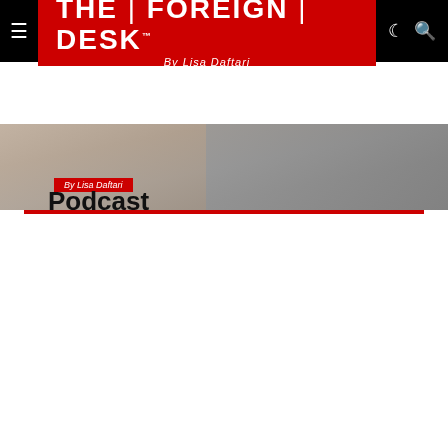THE | FOREIGN | DESK™ By Lisa Daftari
[Figure (photo): Hero image strip showing a blurred scene with a red Lisa Daftari label overlay]
Podcast
[Figure (photo): Podcast episode card with black background showing 'AFGHANISTAN: ONE YEAR AFTER THE WITHDRAWAL' on left, 'ALI MAISAM NAZARY' in center, guest photo upper right, and red caption bar reading 'Afghanistan: One Year After the Withdrawal' with The Foreign Desk logo bottom right]